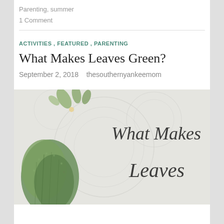Parenting, summer
1 Comment
ACTIVITIES , FEATURED , PARENTING
What Makes Leaves Green?
September 2, 2018   thesouthernyankeemom
[Figure (photo): Blog post featured image with lace background, a green fuzzy leaf/plant on the left, and handwritten-style text reading 'What Makes Leaves' on the right]